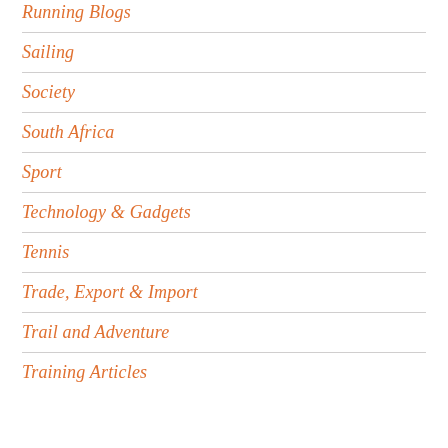Running Blogs
Sailing
Society
South Africa
Sport
Technology & Gadgets
Tennis
Trade, Export & Import
Trail and Adventure
Training Articles